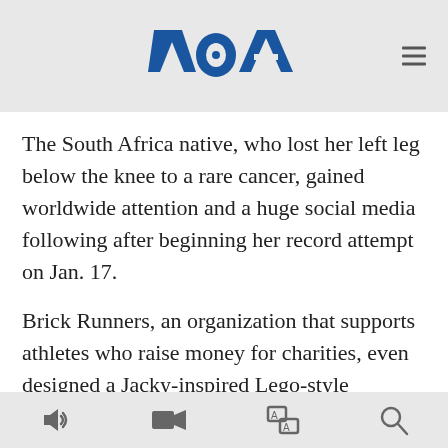[Figure (logo): VOA (Voice of America) logo in blue with a hamburger menu icon on the right, on a light gray background header bar]
The South Africa native, who lost her left leg below the knee to a rare cancer, gained worldwide attention and a huge social media following after beginning her record attempt on Jan. 17.
Brick Runners, an organization that supports athletes who raise money for charities, even designed a Jacky-inspired Lego-style character complete with one of her favorite T-shirts, which reads: "Strong Has Many Forms."
Hunt-Broersma also raised more than $67,000 to help fellow amputee blade runners get the expensive prostheses they need. Health insurance typically
Audio, Video, Language, Search icons